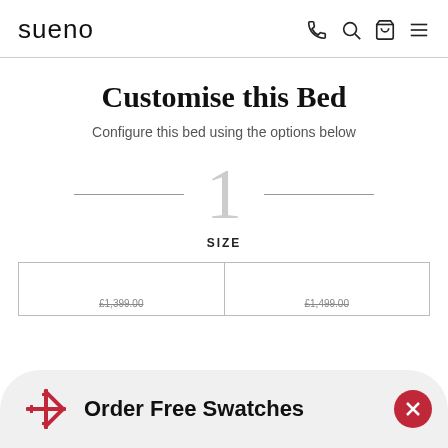sueno
Customise this Bed
Configure this bed using the options below
1
SIZE
[Figure (infographic): Order Free Swatches banner with red snowflake-style logo icon, close button, and partially visible size price cards below]